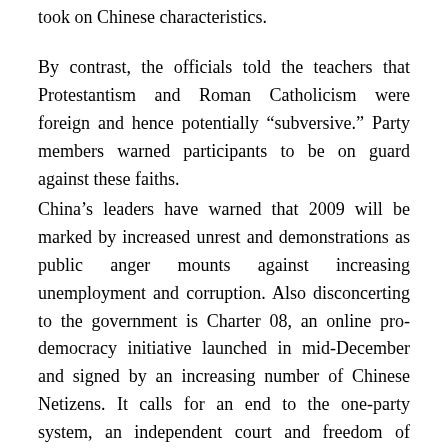took on Chinese characteristics.
By contrast, the officials told the teachers that Protestantism and Roman Catholicism were foreign and hence potentially “subversive.” Party members warned participants to be on guard against these faiths.
China’s leaders have warned that 2009 will be marked by increased unrest and demonstrations as public anger mounts against increasing unemployment and corruption. Also disconcerting to the government is Charter 08, an online pro-democracy initiative launched in mid-December and signed by an increasing number of Chinese Netizens. It calls for an end to the one-party system, an independent court and freedom of speech. Many of the original signatories were well-known pro-democracy lawyers and intellectuals, but the list now includes computer technicians, construction workers and farmers.